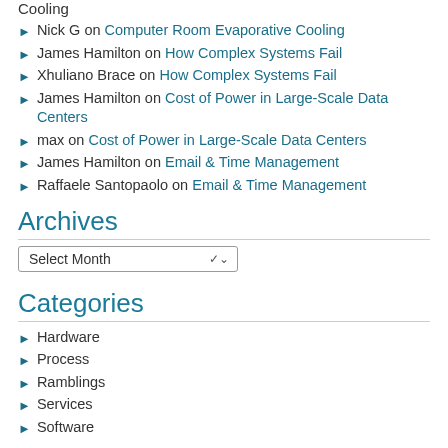Cooling
Nick G on Computer Room Evaporative Cooling
James Hamilton on How Complex Systems Fail
Xhuliano Brace on How Complex Systems Fail
James Hamilton on Cost of Power in Large-Scale Data Centers
max on Cost of Power in Large-Scale Data Centers
James Hamilton on Email & Time Management
Raffaele Santopaolo on Email & Time Management
Archives
Select Month
Categories
Hardware
Process
Ramblings
Services
Software
Meta